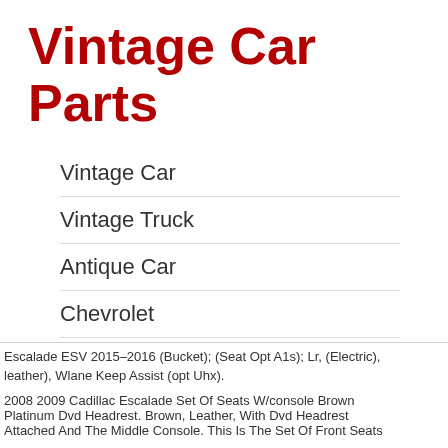Vintage Car Parts
Vintage Car
Vintage Truck
Antique Car
Chevrolet
Ford
Rolls Royce
Escalade ESV 2015–2016 (Bucket); (Seat Opt A1s); Lr, (Electric), leather), Wlane Keep Assist (opt Uhx).
2008 2009 Cadillac Escalade Set Of Seats W/console Brown Platinum Dvd Headrest. Brown, Leather, With Dvd Headrest Attached And The Middle Console. This Is The Set Of Front Seats